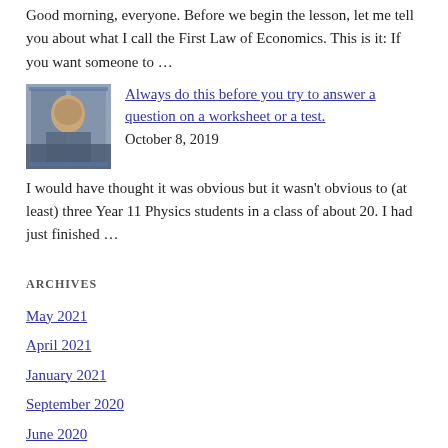Good morning, everyone. Before we begin the lesson, let me tell you about what I call the First Law of Economics. This is it: If you want someone to …
[Figure (photo): Thumbnail photo of a person behind a glass display case]
Always do this before you try to answer a question on a worksheet or a test.
October 8, 2019
I would have thought it was obvious but it wasn't obvious to (at least) three Year 11 Physics students in a class of about 20. I had just finished …
ARCHIVES
May 2021
April 2021
January 2021
September 2020
June 2020